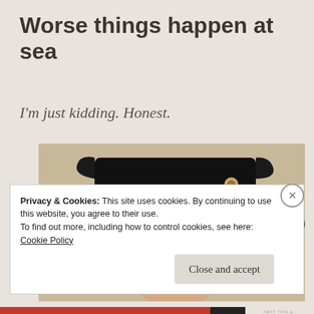Worse things happen at sea
I'm just kidding. Honest.
[Figure (photo): Person dressed as a zombie pirate wearing a large black hat with weathered bandages around the face and theatrical bloody makeup with one wide open eye.]
Privacy & Cookies: This site uses cookies. By continuing to use this website, you agree to their use.
To find out more, including how to control cookies, see here:
Cookie Policy
Close and accept